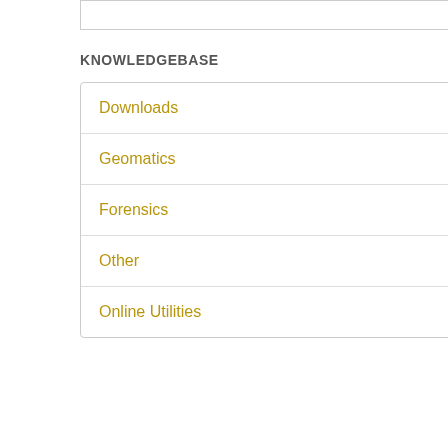Posted by How Li on 03 M
KNOWLEDGEBASE
Downloads (352)
Geomatics (1240)
Forensics (294)
Other (34)
Online Utilities (1)
MicroS
Licensing
All FieldGenius installa upgrade is required if y license has a maintena
Software Serial Nu
the software. Online re pick here to go to our l
Release Notes and
Click here to view f
This website uses cookies to improve user experience. By using our website you consent to all cookies in accordance with Cookie Policy. Cookie Policy
Accept